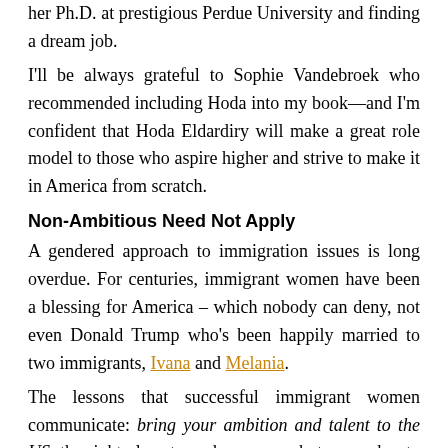her Ph.D. at prestigious Perdue University and finding a dream job.
I'll be always grateful to Sophie Vandebroek who recommended including Hoda into my book—and I'm confident that Hoda Eldardiry will make a great role model to those who aspire higher and strive to make it in America from scratch.
Non-Ambitious Need Not Apply
A gendered approach to immigration issues is long overdue. For centuries, immigrant women have been a blessing for America – which nobody can deny, not even Donald Trump who's been happily married to two immigrants, Ivana and Melania.
The lessons that successful immigrant women communicate: bring your ambition and talent to the US, the right place to seek success—but remember to follow in the footsteps of role model achievers, adopting the daily use of immigration Rx. The powerful